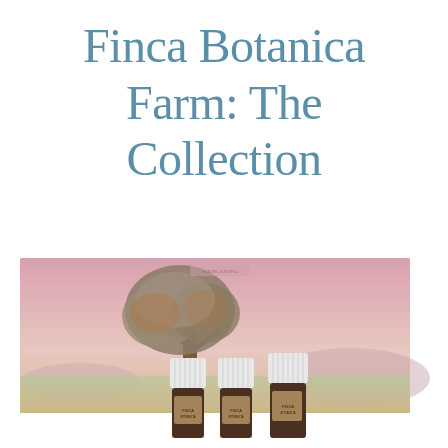Finca Botanica Farm: The Collection
[Figure (photo): Product photo showing a Finca Botanica Farm collection box with a pink-hued landscape featuring a large oak tree, along with three small essential oil bottles with white ribbed caps in the foreground.]